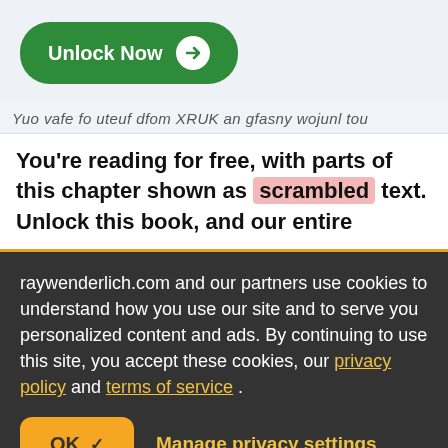[Figure (screenshot): Green 'Unlock Now' button with white arrow icon on light blue-gray background]
Yuo vafe fo uteuf dfom XRUK an gfasny wojunl tou
You're reading for free, with parts of this chapter shown as scrambled text. Unlock this book, and our entire
raywenderlich.com and our partners use cookies to understand how you use our site and to serve you personalized content and ads. By continuing to use this site, you accept these cookies, our privacy policy and terms of service .
[Figure (screenshot): Yellow OK button with checkmark and 'Manage privacy settings' underlined link]